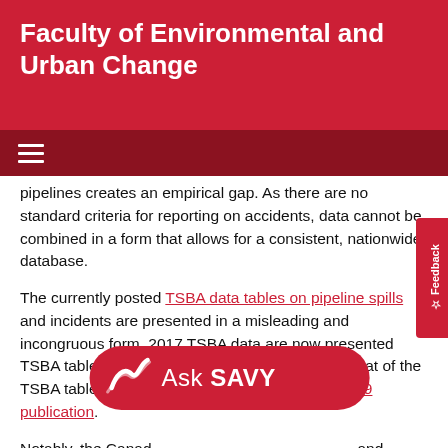Faculty of Environmental and Urban Change
pipelines creates an empirical gap. As there are no standard criteria for reporting on accidents, data cannot be combined in a form that allows for a consistent, nationwide database.
The currently posted TSBA data tables on pipeline spills and incidents are presented in a misleading and incongruous form. 2017 TSBA data are now presented TSBA tables in a different format and order than that of the TSBA tables we examined and presented in a 2019 publication.
Notably, the Canada [text continues] and presents data on p[ipelines as an] interactive online data visualization initiative, which,